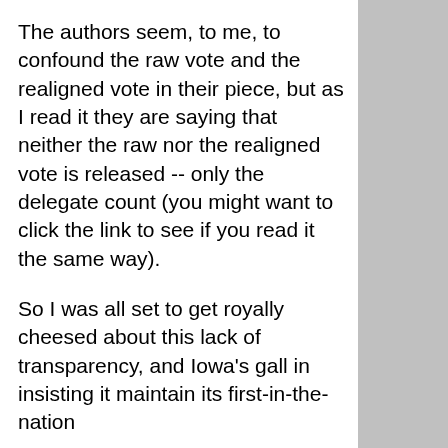The authors seem, to me, to confound the raw vote and the realigned vote in their piece, but as I read it they are saying that neither the raw nor the realigned vote is released -- only the delegate count (you might want to click the link to see if you read it the same way).
So I was all set to get royally cheesed about this lack of transparency, and Iowa's gall in insisting it maintain its first-in-the-nation